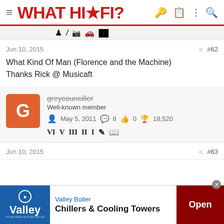WHAT HI-FI?
Jun 10, 2015  #62
What Kind Of Man (Florence and the Machine)
Thanks Rick @ Musicaft
greycounciller
Well-known member
May 5, 2011  8  0  18,520
Jun 10, 2015  #63
[Figure (screenshot): Advertisement banner for Valley Boiler - Chillers & Cooling Towers with Open button]